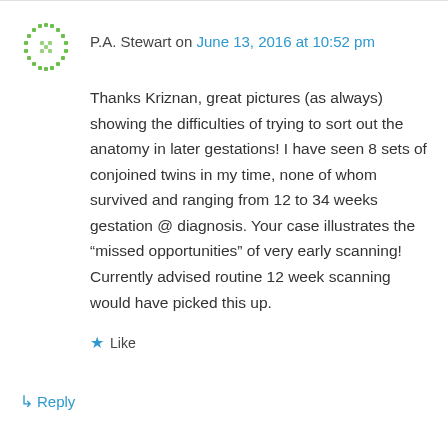[Figure (illustration): Green dotted circular avatar icon for user P.A. Stewart]
P.A. Stewart on June 13, 2016 at 10:52 pm
Thanks Kriznan, great pictures (as always) showing the difficulties of trying to sort out the anatomy in later gestations! I have seen 8 sets of conjoined twins in my time, none of whom survived and ranging from 12 to 34 weeks gestation @ diagnosis. Your case illustrates the “missed opportunities” of very early scanning! Currently advised routine 12 week scanning would have picked this up.
Like
Reply